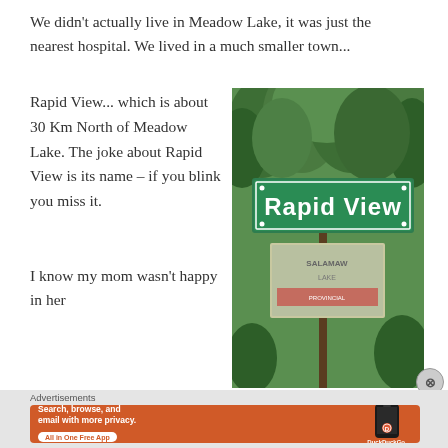We didn't actually live in Meadow Lake, it was just the nearest hospital. We lived in a much smaller town...
Rapid View... which is about 30 Km North of Meadow Lake. The joke about Rapid View is its name – if you blink you miss it.

I know my mom wasn't happy in her
[Figure (photo): Photograph of a green road sign reading 'Rapid View' mounted on a wooden post, with trees in the background and a secondary sign below.]
Advertisements
[Figure (infographic): DuckDuckGo advertisement banner with orange background. Text reads: 'Search, browse, and email with more privacy. All in One Free App'. Shows a smartphone and DuckDuckGo logo.]